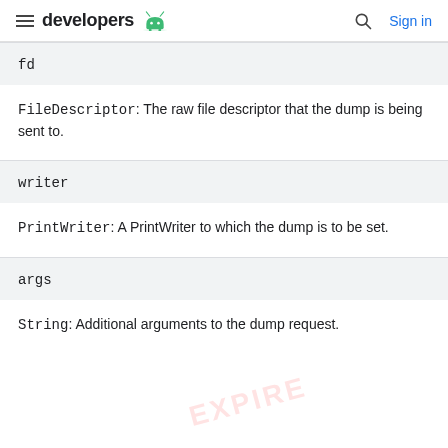developers
fd
FileDescriptor: The raw file descriptor that the dump is being sent to.
writer
PrintWriter: A PrintWriter to which the dump is to be set.
args
String: Additional arguments to the dump request.